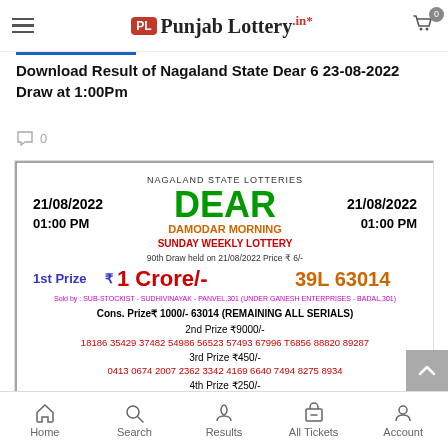PL Punjab Lottery.in — menu and cart icons
Download Result of Nagaland State Dear 6 23-08-2022 Draw at 1:00Pm
0 comments
[Figure (other): Nagaland State Lotteries Dear Damodar Morning Sunday Weekly Lottery result ticket dated 21/08/2022 01:00 PM. 1st Prize ₹1 Crore/- 39L 63014. Cons. Prize ₹1000/- 63014 (REMAINING ALL SERIALS). 2nd Prize ₹9000/-: 18186 35429 37482 54986 56523 57493 67996 T6856 88820 89287. 3rd Prize ₹450/-: 0413 0674 2007 2362 3342 4169 6640 7494 8275 8934. 4th Prize ₹250/-: 1942 2642 3244 4045 4575 5765 6420 7948 8430 8887. Important Intimation: Install MobileLot Immediately. OTP Charges Starts. For Stockist from 01.09.22 | For Sub Stockist from 01.10.22. Every OTP charge Rs.5/-]
Home | Search | Results | All Tickets | Account